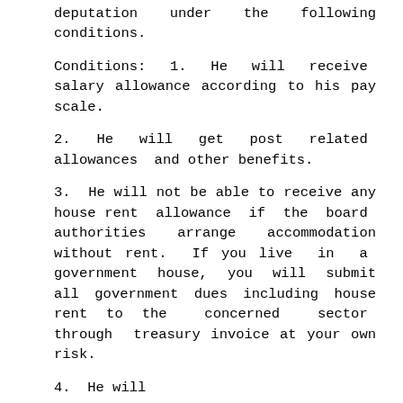deputation under the following conditions.
Conditions: 1. He will receive salary allowance according to his pay scale.
2. He will get post related allowances and other benefits.
3. He will not be able to receive any house rent allowance if the board authorities arrange accommodation without rent. If you live in a government house, you will submit all government dues including house rent to the concerned sector through treasury invoice at your own risk.
4. He will...